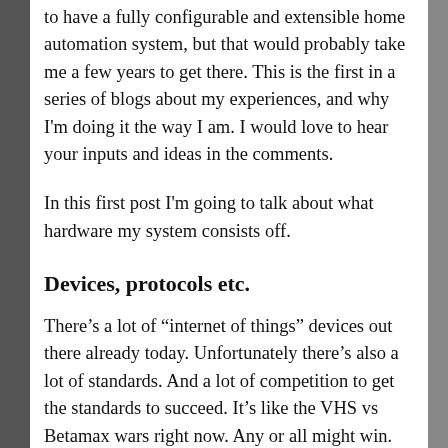to have a fully configurable and extensible home automation system, but that would probably take me a few years to get there. This is the first in a series of blogs about my experiences, and why I'm doing it the way I am. I would love to hear your inputs and ideas in the comments.
In this first post I'm going to talk about what hardware my system consists off.
Devices, protocols etc.
There's a lot of “internet of things” devices out there already today. Unfortunately there's also a lot of standards. And a lot of competition to get the standards to succeed. It's like the VHS vs Betamax wars right now. Any or all might win. And some systems supports multiple. Of some of